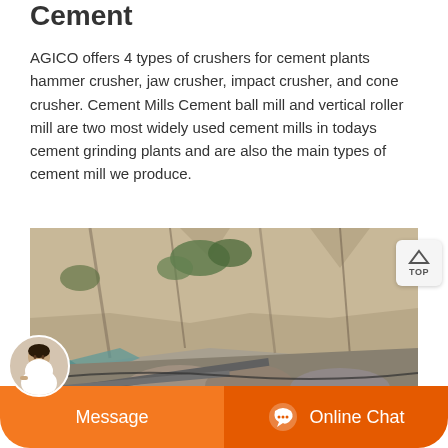Cement
AGICO offers 4 types of crushers for cement plants hammer crusher, jaw crusher, impact crusher, and cone crusher. Cement Mills Cement ball mill and vertical roller mill are two most widely used cement mills in todays cement grinding plants and are also the main types of cement mill we produce.
[Figure (photo): A quarry or mining site with large rocky cliff face in the background and heavy industrial equipment/machinery in the foreground including conveyor systems and processing equipment]